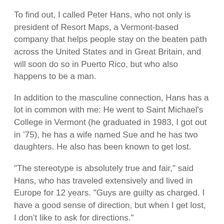To find out, I called Peter Hans, who not only is president of Resort Maps, a Vermont-based company that helps people stay on the beaten path across the United States and in Great Britain, and will soon do so in Puerto Rico, but who also happens to be a man.
In addition to the masculine connection, Hans has a lot in common with me: He went to Saint Michael's College in Vermont (he graduated in 1983, I got out in ‘75), he has a wife named Sue and he has two daughters. He also has been known to get lost.
"The stereotype is absolutely true and fair," said Hans, who has traveled extensively and lived in Europe for 12 years. "Guys are guilty as charged. I have a good sense of direction, but when I get lost, I don’t like to ask for directions."
Once, right after college, Hans got hopelessly lost – and he wasn’t even driving.